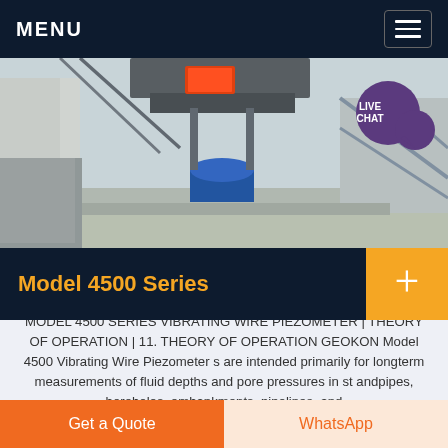MENU
[Figure (photo): Industrial equipment photo showing heavy machinery with chains, a blue cylindrical component in the center, metal framework, and concrete surfaces. A 'LIVE CHAT' bubble overlay is visible in the top right corner.]
Model 4500 Series
MODEL 4500 SERIES VIBRATING WIRE PIEZOMETER | THEORY OF OPERATION | 11. THEORY OF OPERATION GEOKON Model 4500 Vibrating Wire Piezometer s are intended primarily for longterm measurements of fluid depths and pore pressures in st andpipes, boreholes, embankments, pipelines, and
Get a Quote  WhatsApp